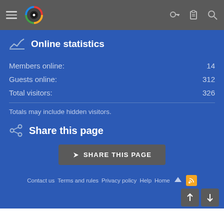Online statistics
|  |  |
| --- | --- |
| Members online: | 14 |
| Guests online: | 312 |
| Total visitors: | 326 |
Totals may include hidden visitors.
Share this page
SHARE THIS PAGE
Contact us  Terms and rules  Privacy policy  Help  Home